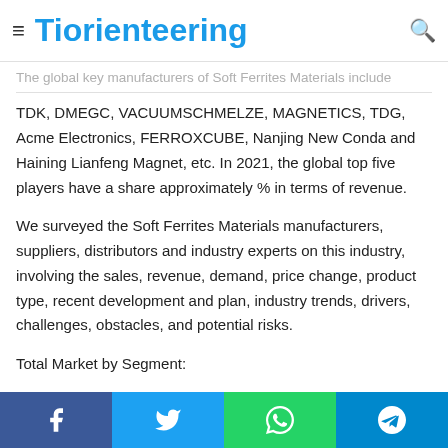Tiorienteering
The global key manufacturers of Soft Ferrites Materials include TDK, DMEGC, VACUUMSCHMELZE, MAGNETICS, TDG, Acme Electronics, FERROXCUBE, Nanjing New Conda and Haining Lianfeng Magnet, etc. In 2021, the global top five players have a share approximately % in terms of revenue.
We surveyed the Soft Ferrites Materials manufacturers, suppliers, distributors and industry experts on this industry, involving the sales, revenue, demand, price change, product type, recent development and plan, industry trends, drivers, challenges, obstacles, and potential risks.
Total Market by Segment:
Facebook | Twitter | WhatsApp | Telegram